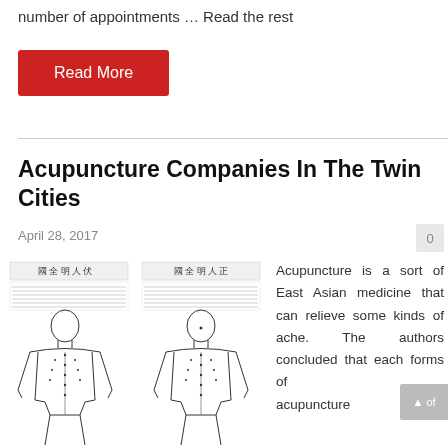number of appointments … Read the rest
Read More
Acupuncture Companies In The Twin Cities
April 28, 2017
[Figure (illustration): Two traditional East Asian acupuncture body charts showing meridian points on the human body, with Chinese characters at the top.]
Acupuncture is a sort of East Asian medicine that can relieve some kinds of ache. The authors concluded that each forms of acupuncture